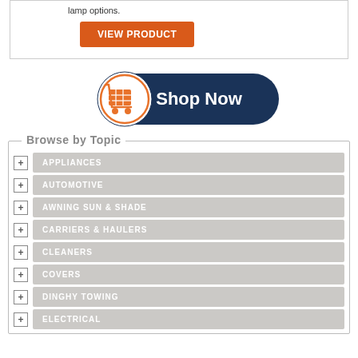lamp options.
VIEW PRODUCT
[Figure (illustration): Shop Now button with orange shopping cart icon on dark navy background]
Browse by Topic
APPLIANCES
AUTOMOTIVE
AWNING SUN & SHADE
CARRIERS & HAULERS
CLEANERS
COVERS
DINGHY TOWING
ELECTRICAL